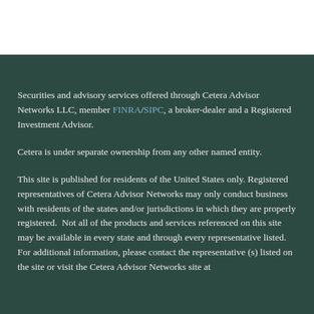Securities and advisory services offered through Cetera Advisor Networks LLC, member FINRA/SIPC, a broker-dealer and a Registered Investment Advisor.
Cetera is under separate ownership from any other named entity.
This site is published for residents of the United States only. Registered representatives of Cetera Advisor Networks may only conduct business with residents of the states and/or jurisdictions in which they are properly registered. Not all of the products and services referenced on this site may be available in every state and through every representative listed. For additional information, please contact the representative (s) listed on the site or visit the Cetera Advisor Networks site at